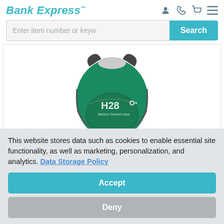Bank Express
Enter item number or keyw
[Figure (photo): Green recycled PET backpack with H28 logo, shown against white background]
Recycled PET On The Move Backpack
This website stores data such as cookies to enable essential site functionality, as well as marketing, personalization, and analytics. Data Storage Policy
Accept
Deny